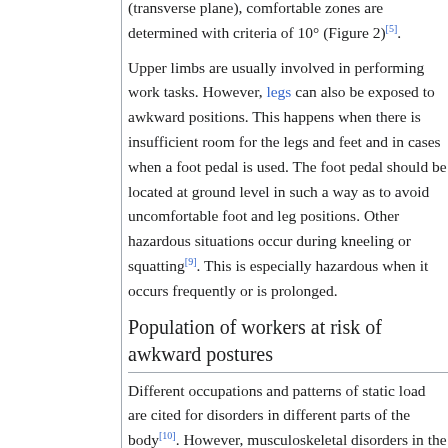(transverse plane), comfortable zones are determined with criteria of 10° (Figure 2)[5].
Upper limbs are usually involved in performing work tasks. However, legs can also be exposed to awkward positions. This happens when there is insufficient room for the legs and feet and in cases when a foot pedal is used. The foot pedal should be located at ground level in such a way as to avoid uncomfortable foot and leg positions. Other hazardous situations occur during kneeling or squatting[9]. This is especially hazardous when it occurs frequently or is prolonged.
Population of workers at risk of awkward postures
Different occupations and patterns of static load are cited for disorders in different parts of the body[10]. However, musculoskeletal disorders in the group of workers exposed to static work occur significantly more often than in other worker groups[11][12]. For